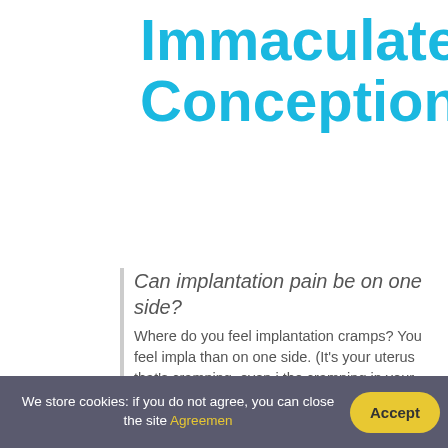Immaculate Conception
Can implantation pain be on one side?
Where do you feel implantation cramps? You feel implantation cramps more in the center than on one side. (It's your uterus that's cramping, even if the egg implants on one side.) You may also feel the cramping in your lower back.
How does early pregnancy cramps feel like?
Once you become pregnant, your uterus will begin to grow. As it does this, you may feel mild discomfort in your lower abdomen or lower back. This may feel like a dull ache or mild twinges similar to typical menstrual cramps.
How do you know that you have conceived?
We store cookies: if you do not agree, you can close the site Agreement